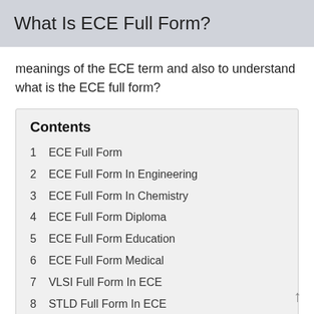What Is ECE Full Form?
meanings of the ECE term and also to understand what is the ECE full form?
Contents
1  ECE Full Form
2  ECE Full Form In Engineering
3  ECE Full Form In Chemistry
4  ECE Full Form Diploma
5  ECE Full Form Education
6  ECE Full Form Medical
7  VLSI Full Form In ECE
8  STLD Full Form In ECE
9  BE ECE Full Form
10  EDC ECE Subject Full Form